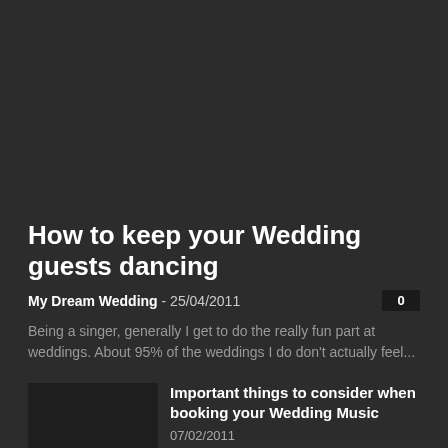How to keep your Wedding guests dancing
My Dream Wedding - 25/04/2011
0
Being a singer, generally I get to do the really fun part at weddings. About 95% of the weddings I do don't actually feel...
Important things to consider when booking your Wedding Music
07/02/2011
MELOS – Church Wedding Singers Dublin / Ireland